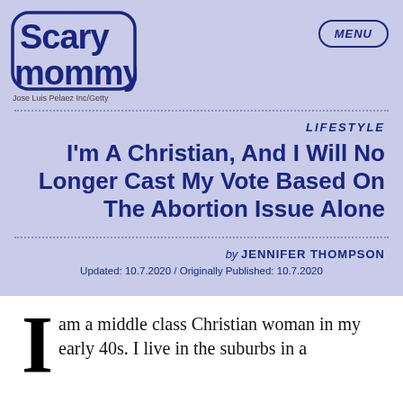[Figure (logo): Scary Mommy logo in dark navy blue bubble font]
Jose Luis Pelaez Inc/Getty
MENU
LIFESTYLE
I'm A Christian, And I Will No Longer Cast My Vote Based On The Abortion Issue Alone
by JENNIFER THOMPSON
Updated: 10.7.2020 / Originally Published: 10.7.2020
I am a middle class Christian woman in my early 40s. I live in the suburbs in a